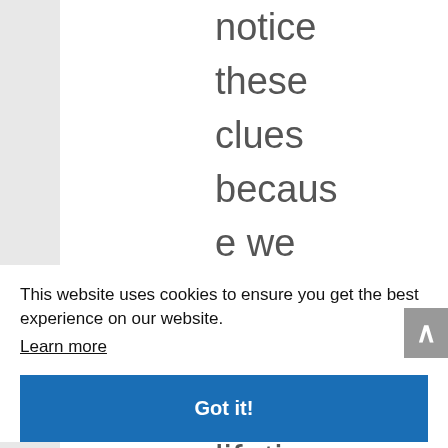notice these clues because we have spent a lifetim
This website uses cookies to ensure you get the best experience on our website. Learn more
Got it!
conditi